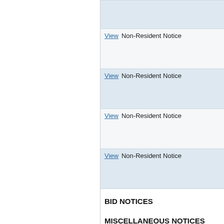|  |  |
| --- | --- |
| View | Non-Resident Notice |
| View | Non-Resident Notice |
| View | Non-Resident Notice |
| View | Non-Resident Notice |
BID NOTICES
MISCELLANEOUS NOTICES